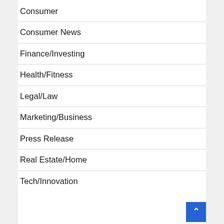Consumer
Consumer News
Finance/Investing
Health/Fitness
Legal/Law
Marketing/Business
Press Release
Real Estate/Home
Tech/Innovation